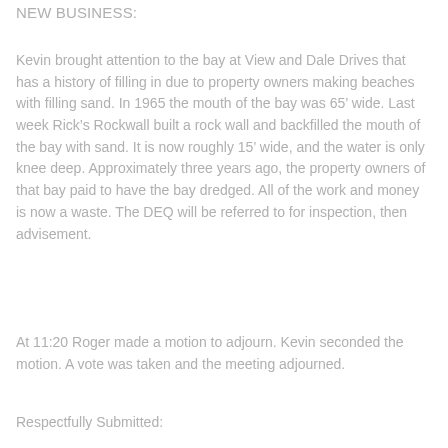NEW BUSINESS:
Kevin brought attention to the bay at View and Dale Drives that has a history of filling in due to property owners making beaches with filling sand. In 1965 the mouth of the bay was 65’ wide. Last week Rick’s Rockwall built a rock wall and backfilled the mouth of the bay with sand. It is now roughly 15’ wide, and the water is only knee deep. Approximately three years ago, the property owners of that bay paid to have the bay dredged. All of the work and money is now a waste. The DEQ will be referred to for inspection, then advisement.
At 11:20 Roger made a motion to adjourn. Kevin seconded the motion. A vote was taken and the meeting adjourned.
Respectfully Submitted: